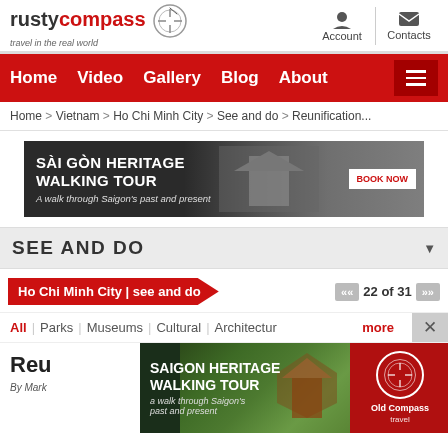[Figure (logo): Rusty Compass logo with compass clock icon and tagline 'travel in the real world']
Account | Contacts
Home  Video  Gallery  Blog  About
Home > Vietnam > Ho Chi Minh City > See and do > Reunification...
[Figure (screenshot): Sài Gòn Heritage Walking Tour banner ad - A walk through Saigon's past and present - BOOK NOW]
SEE AND DO
Ho Chi Minh City | see and do
22 of 31
All | Parks | Museums | Cultural | Architecture  more
Reu
By Mark
[Figure (screenshot): Saigon Heritage Walking Tour popup banner - a walk through Saigon's past and present, with garden/temple photo and Old Compass Travel logo]